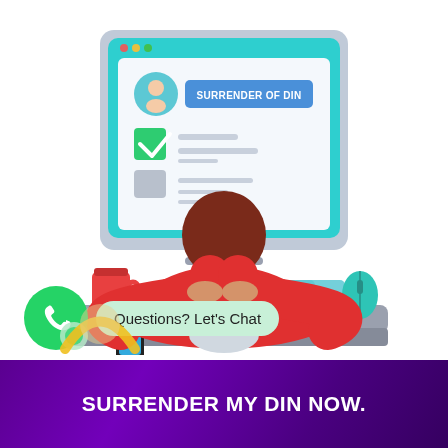[Figure (illustration): Flat vector illustration of a person seen from behind, sitting at a desk typing on a keyboard. A monitor in front shows a 'Surrender of DIN' form with a profile icon, a green checkmark checkbox, and a blue button labeled 'SURRENDER OF DIN'. On the desk are a red coffee mug, a smartphone, and a teal computer mouse.]
[Figure (illustration): WhatsApp green circle icon with phone handset logo and a speech bubble overlay with a partial decorative graphic. Next to it is a light green chat bubble with text 'Questions? Let's Chat']
SURRENDER MY DIN NOW.